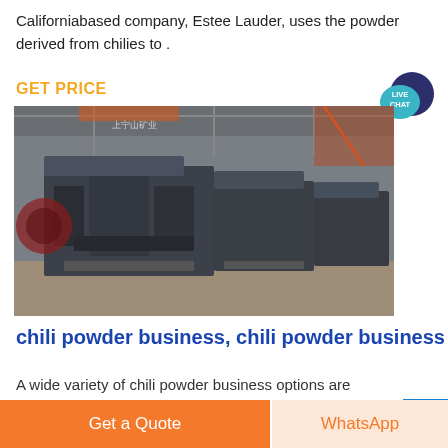Californiabased company, Estee Lauder, uses the powder derived from chilies to .
GET PRICE
[Figure (photo): Industrial machinery — large grey heavy-duty crushers or grinding machines lined up in a factory warehouse]
chili powder business, chili powder business
A wide variety of chili powder business options are
Get a Quote
WhatsApp